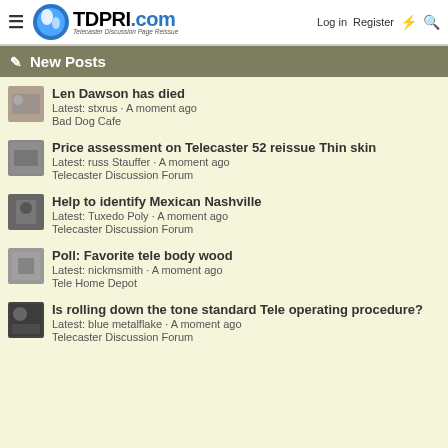TDPRI.com Telecaster Discussion Page Reissue | Log in | Register
New Posts
Len Dawson has died
Latest: stxrus · A moment ago
Bad Dog Cafe
Price assessment on Telecaster 52 reissue Thin skin
Latest: russ Stauffer · A moment ago
Telecaster Discussion Forum
Help to identify Mexican Nashville
Latest: Tuxedo Poly · A moment ago
Telecaster Discussion Forum
Poll: Favorite tele body wood
Latest: nickmsmith · A moment ago
Tele Home Depot
Is rolling down the tone standard Tele operating procedure?
Latest: blue metalflake · A moment ago
Telecaster Discussion Forum